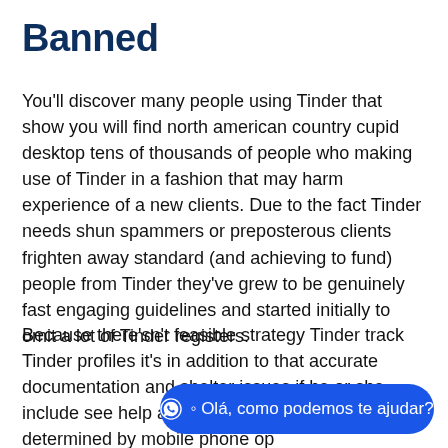Banned
You'll discover many people using Tinder that show you will find north american country cupid desktop tens of thousands of people who making use of Tinder in a fashion that may harm experience of a new clients. Due to the fact Tinder needs shun spammers or preposterous clients frighten away standard (and achieving to fund) people from Tinder they've grew to be genuinely fast engaging guidelines and started initially to omit a lot of Tinder registers.
Because there'sn't feasible strategy Tinder track Tinder profiles it's in addition to that accurate documentation and shelter issues if he or she include see help and advice thoroughly, they be determined by mobile phone op
[Figure (other): Blue rounded chat button with WhatsApp icon and text 'Olá, como podemos te ajudar?']